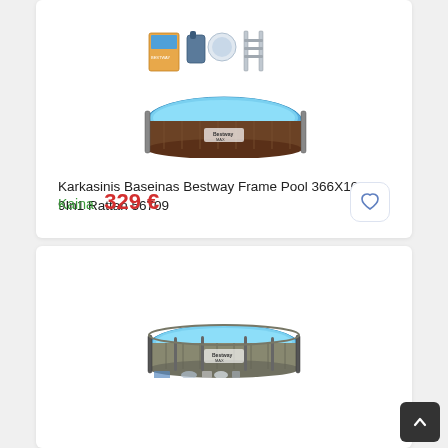[Figure (photo): Bestway Frame Pool 366X100Cm 9In1 Rattan product image with pool and accessories]
Karkasinis Baseinas Bestway Frame Pool 366X100Cm 9In1 Rattan 56709
Kaina  329 €
[Figure (photo): Second Bestway pool product image, grey stone/rattan look, circular frame pool]